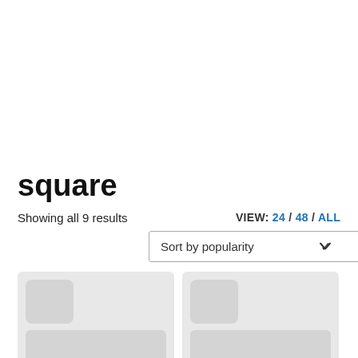CORPORATE
ABOUT US
SHOP
square
Showing all 9 results
VIEW: 24 / 48 / ALL
Sort by popularity
[Figure (screenshot): Two product card placeholders with grey background blocks representing product images and text rows]